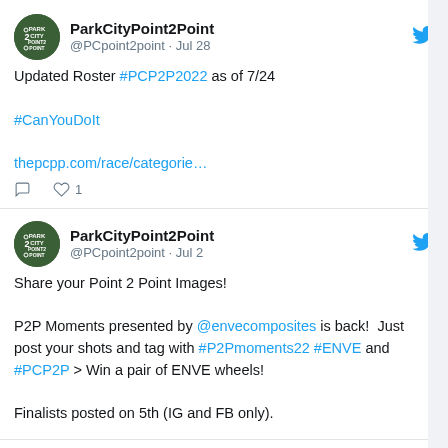ParkCityPoint2Point @PCpoint2point · Jul 28
Updated Roster #PCP2P2022 as of 7/24

#CanYouDoIt

thepcpp.com/race/categorie…
ParkCityPoint2Point @PCpoint2point · Jul 2
Share your Point 2 Point Images!

P2P Moments presented by @envecomposites is back!  Just post your shots and tag with #P2Pmoments22 #ENVE and #PCP2P > Win a pair of ENVE wheels!

Finalists posted on 5th (IG and FB only).